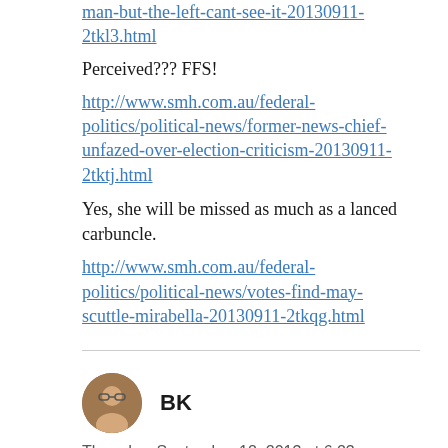man-but-the-left-cant-see-it-20130911-2tkl3.html
Perceived??? FFS!
http://www.smh.com.au/federal-politics/political-news/former-news-chief-unfazed-over-election-criticism-20130911-2tktj.html
Yes, she will be missed as much as a lanced carbuncle.
http://www.smh.com.au/federal-politics/political-news/votes-find-may-scuttle-mirabella-20130911-2tkqg.html
[Figure (photo): Avatar photo of commenter BK]
BK
Thursday, September 12, 2013 at 6:23 am